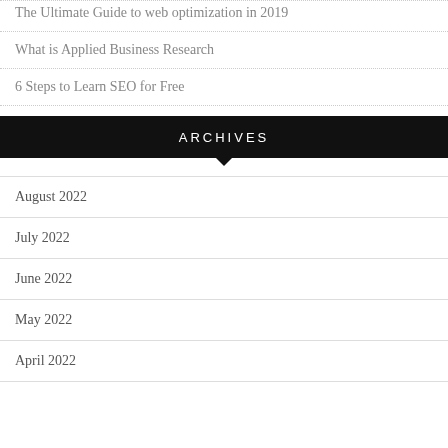The Ultimate Guide to web optimization in 2019
What is Applied Business Research
6 Steps to Learn SEO for Free
ARCHIVES
August 2022
July 2022
June 2022
May 2022
April 2022